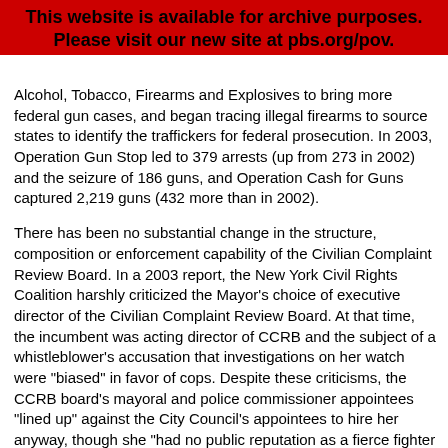This website is available for archive purposes. Please visit our new site at pbs.org/pov.
Alcohol, Tobacco, Firearms and Explosives to bring more federal gun cases, and began tracing illegal firearms to source states to identify the traffickers for federal prosecution. In 2003, Operation Gun Stop led to 379 arrests (up from 273 in 2002) and the seizure of 186 guns, and Operation Cash for Guns captured 2,219 guns (432 more than in 2002).
There has been no substantial change in the structure, composition or enforcement capability of the Civilian Complaint Review Board. In a 2003 report, the New York Civil Rights Coalition harshly criticized the Mayor's choice of executive director of the Civilian Complaint Review Board. At that time, the incumbent was acting director of CCRB and the subject of a whistleblower's accusation that investigations on her watch were "biased" in favor of cops. Despite these criticisms, the CCRB board's mayoral and police commissioner appointees "lined up" against the City Council's appointees to hire her anyway, though she "had no public reputation as a fierce fighter of police misconduct or as a person who engages the communities of color about the problems associated with police-community tensions." (New York Civil Liberties Coalition, 2/24/03)